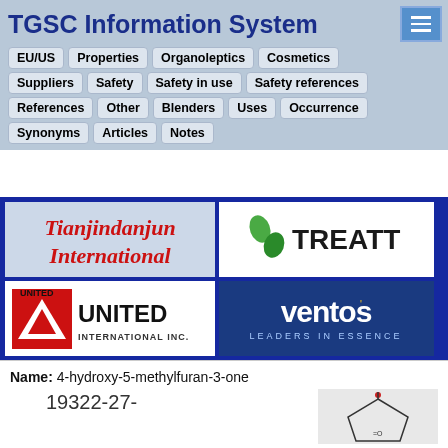TGSC Information System
EU/US | Properties | Organoleptics | Cosmetics | Suppliers | Safety | Safety in use | Safety references | References | Other | Blenders | Uses | Occurrence | Synonyms | Articles | Notes
[Figure (logo): Tianjindanjun International logo]
[Figure (logo): TREATT logo with green droplet icon]
[Figure (logo): United International Inc. logo with red/white triangle symbol]
[Figure (logo): ventos LEADERS IN ESSENCE logo on dark blue background]
[Figure (logo): WholeChem logo with white W symbol on teal background]
Name: 4-hydroxy-5-methylfuran-3-one
19322-27